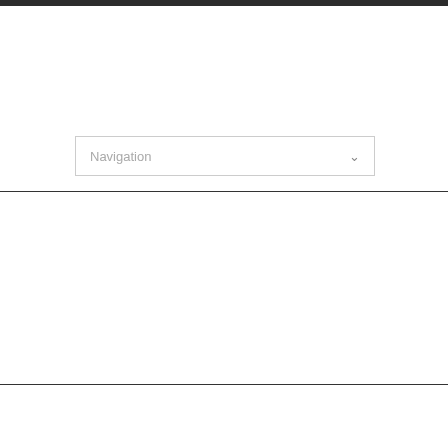[Figure (screenshot): Navigation dropdown selector widget with 'Navigation' label and chevron arrow on right]
CATEGORY ARCHIVE FOR ‘FHA LOANS’